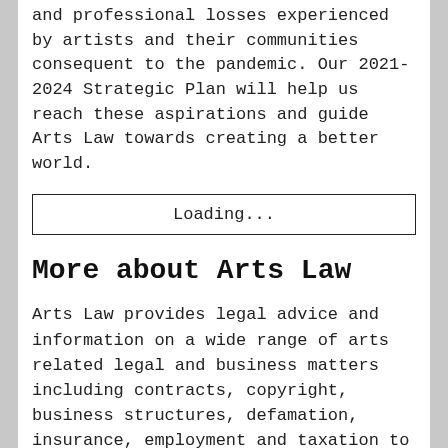and professional losses experienced by artists and their communities consequent to the pandemic. Our 2021-2024 Strategic Plan will help us reach these aspirations and guide Arts Law towards creating a better world.
Loading...
More about Arts Law
Arts Law provides legal advice and information on a wide range of arts related legal and business matters including contracts, copyright, business structures, defamation, insurance, employment and taxation to artists and arts organisations across all art forms.
Arts Law's team  is led by Robyn Ayres as CEO.  Its Board of directors, comprising expert legal, business and arts practitioners,